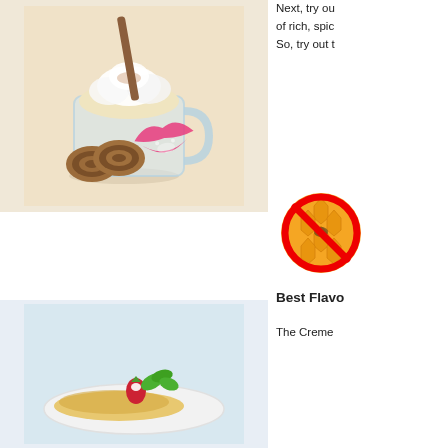[Figure (photo): A glass mug with creamy hot drink topped with whipped cream and cinnamon, with cinnamon sticks and a pink lip print beside it, on a warm beige background.]
Next, try our of rich, spic So, try out th
[Figure (illustration): A honeycomb/bee icon with a red no symbol (circle with diagonal line) overlaid on it.]
Best Flavo
The Creme
[Figure (photo): A dessert plate with a crepe or similar item, a strawberry with cream, and mint leaves garnish on a white plate with light blue background.]